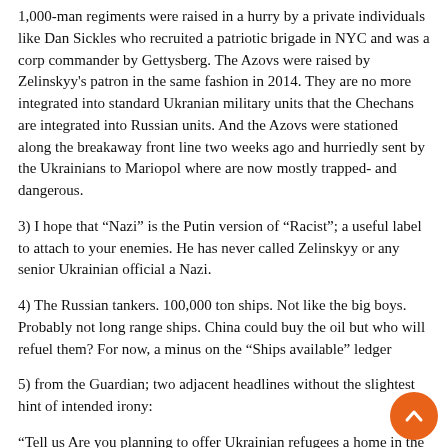1,000-man regiments were raised in a hurry by a private individuals like Dan Sickles who recruited a patriotic brigade in NYC and was a corp commander by Gettysberg. The Azovs were raised by Zelinskyy's patron in the same fashion in 2014. They are no more integrated into standard Ukranian military units that the Chechans are integrated into Russian units. And the Azovs were stationed along the breakaway front line two weeks ago and hurriedly sent by the Ukrainians to Mariopol where are now mostly trapped- and dangerous.
3) I hope that “Nazi” is the Putin version of “Racist”; a useful label to attach to your enemies. He has never called Zelinskyy or any senior Ukrainian official a Nazi.
4) The Russian tankers. 100,000 ton ships. Not like the big boys. Probably not long range ships. China could buy the oil but who will refuel them? For now, a minus on the “Ships available” ledger
5) from the Guardian; two adjacent headlines without the slightest hint of intended irony:
“Tell us Are you planning to offer Ukrainian refugees a home in the UK?”
“Cost of living crisis Are you an adult in the UK living with your parents?”